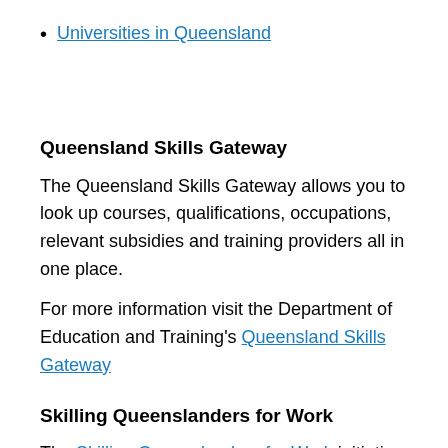Universities in Queensland
Queensland Skills Gateway
The Queensland Skills Gateway allows you to look up courses, qualifications, occupations, relevant subsidies and training providers all in one place.
For more information visit the Department of Education and Training's Queensland Skills Gateway
Skilling Queenslanders for Work
The Skilling Queenslanders for Work initiative helps eligible Queenslanders to gain the skills, qualifications and experience needed to enter and stay in the workforce. The programs are targeted at